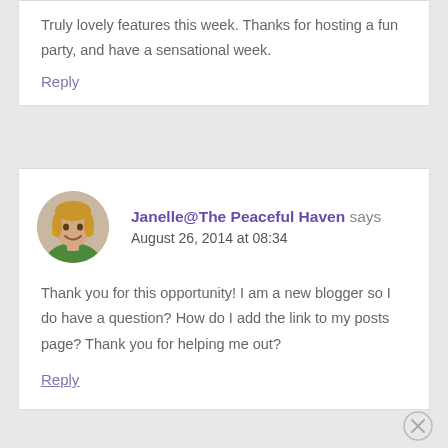Truly lovely features this week. Thanks for hosting a fun party, and have a sensational week.
Reply
Janelle@The Peaceful Haven says August 26, 2014 at 08:34
Thank you for this opportunity! I am a new blogger so I do have a question? How do I add the link to my posts page? Thank you for helping me out?
Reply